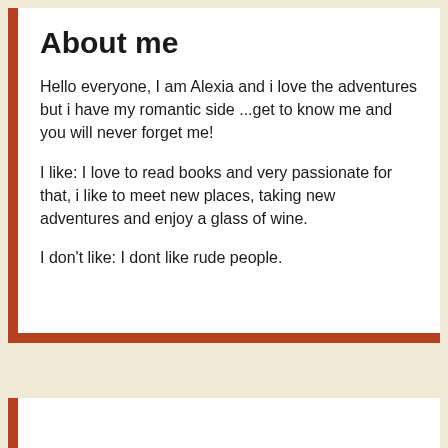About me
Hello everyone, I am Alexia and i love the adventures but i have my romantic side ...get to know me and you will never forget me!
I like: I love to read books and very passionate for that, i like to meet new places, taking new adventures and enjoy a glass of wine.
I don't like: I dont like rude people.